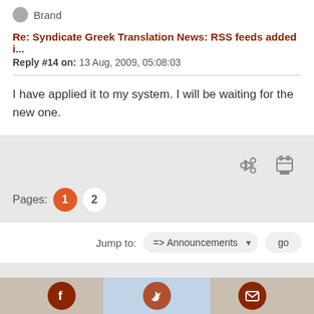Brand
Re: Syndicate Greek Translation News: RSS feeds added i...
Reply #14 on: 13 Aug, 2009, 05:08:03
I have applied it to my system. I will be waiting for the new one.
Pages: 1 2
Jump to: => Announcements go